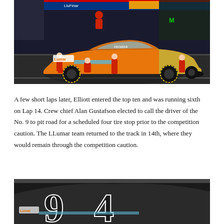[Figure (photo): NASCAR pit stop scene showing a brightly colored orange and gold race car (No. 9, LLumar/Hendrick Motorsports) with crew members in red uniforms working on the car during a pit stop on a race track at night.]
A few short laps later, Elliott entered the top ten and was running sixth on Lap 14. Crew chief Alan Gustafson elected to call the driver of the No. 9 to pit road for a scheduled four tire stop prior to the competition caution. The LLumar team returned to the track in 14th, where they would remain through the competition caution.
[Figure (photo): Close-up image of a NASCAR race car showing the front and side of the vehicle, partially cropped at the bottom of the page.]